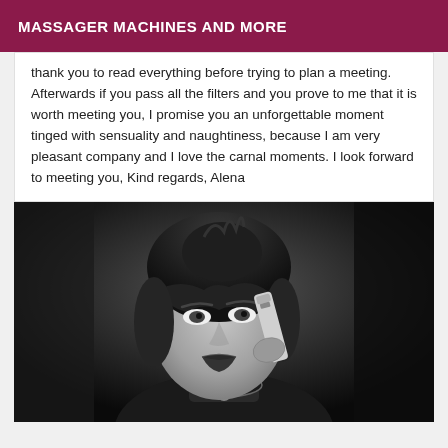MASSAGER MACHINES AND MORE
thank you to read everything before trying to plan a meeting. Afterwards if you pass all the filters and you prove to me that it is worth meeting you, I promise you an unforgettable moment tinged with sensuality and naughtiness, because I am very pleasant company and I love the carnal moments. I look forward to meeting you, Kind regards, Alena
[Figure (photo): Black and white portrait photo of a woman with dark bangs hair, wearing a collar necklace, holding up what appears to be a tube or syringe, with mouth open, looking intensely at the camera.]